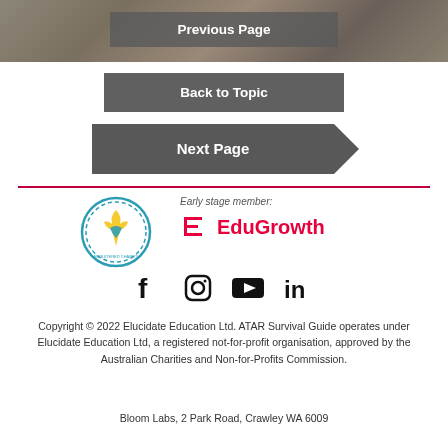[Figure (photo): Photo strip at top of page showing people, partially visible]
Previous Page
Back to Topic
Next Page
[Figure (logo): Registered Charity circular badge logo]
[Figure (logo): EduGrowth early stage member logo with text 'Early stage member: EduGrowth']
[Figure (logo): Social media icons: Facebook, Instagram, YouTube, LinkedIn]
Copyright © 2022 Elucidate Education Ltd. ATAR Survival Guide operates under Elucidate Education Ltd, a registered not-for-profit organisation, approved by the Australian Charities and Non-for-Profits Commission.
Bloom Labs, 2 Park Road, Crawley WA 6009